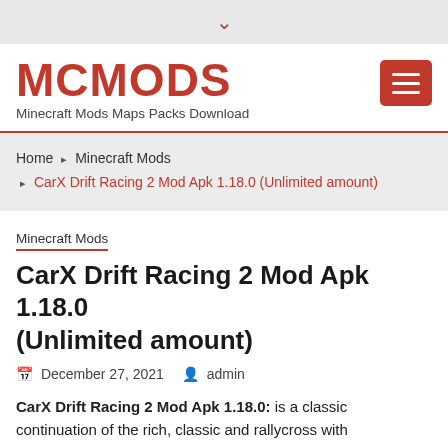▾
MCMODS
Minecraft Mods Maps Packs Download
Home › Minecraft Mods › CarX Drift Racing 2 Mod Apk 1.18.0 (Unlimited amount)
Minecraft Mods
CarX Drift Racing 2 Mod Apk 1.18.0 (Unlimited amount)
December 27, 2021  admin
CarX Drift Racing 2 Mod Apk 1.18.0: is a classic continuation of the rich, classic and rallycross with